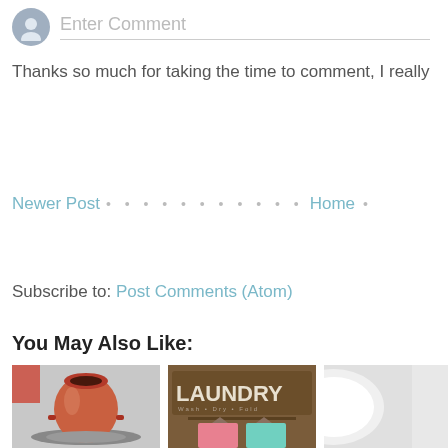[Figure (screenshot): Blog comment input area with user avatar and 'Enter Comment' placeholder text]
Thanks so much for taking the time to comment, I really
Newer Post • • • • • • • • • • • Home •
View mobile versio
Subscribe to: Post Comments (Atom)
You May Also Like:
[Figure (photo): Three thumbnail photos: pottery on wheel, laundry sign, white object]
[Figure (photo): Laundry sign reading LAUNDRY with clothes hanging below]
[Figure (photo): White rounded object partially visible]